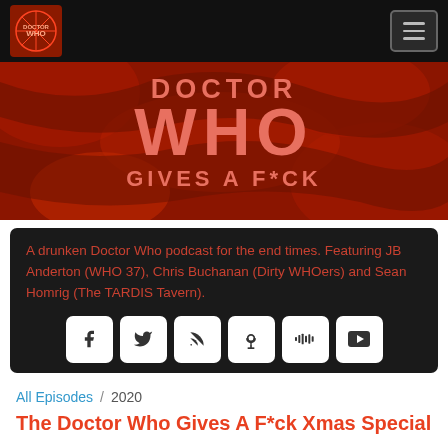[Figure (logo): Doctor Who Gives A F*ck podcast logo in top left navigation bar]
[Figure (illustration): Hero banner with red/orange abstract background showing DOCTOR WHO GIVES A F*CK text in large pink/salmon bold letters]
A drunken Doctor Who podcast for the end times. Featuring JB Anderton (WHO 37), Chris Buchanan (Dirty WHOers) and Sean Homrig (The TARDIS Tavern).
[Figure (infographic): Row of six social media icon buttons: Facebook, Twitter, RSS, Podcast, Stitcher, YouTube]
All Episodes / 2020
The Doctor Who Gives A F*ck Xmas Special